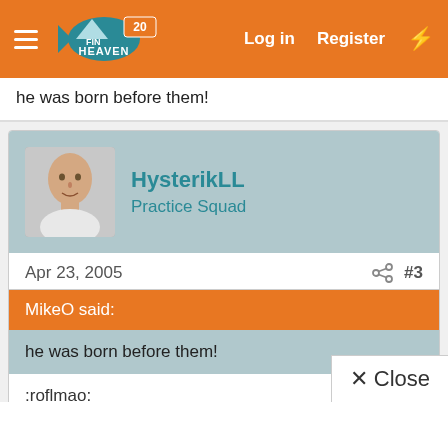FinHeaven — Log in  Register
he was born before them!
HysterikLL
Practice Squad
Apr 23, 2005   #3
MikeO said:
he was born before them!
:roflmao:
And I'm pretty sure he's not 24 until December.